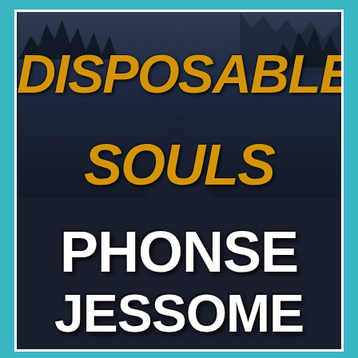[Figure (illustration): Book cover for 'Disposable Souls' by Phonse Jessome. Dark moody background showing a foggy road through forest trees at night. Title 'DISPOSABLE SOULS' in large distressed gold/amber italic text, author name 'PHONSE JESSOME' in large white bold text below. Surrounded by a teal/cyan border.]